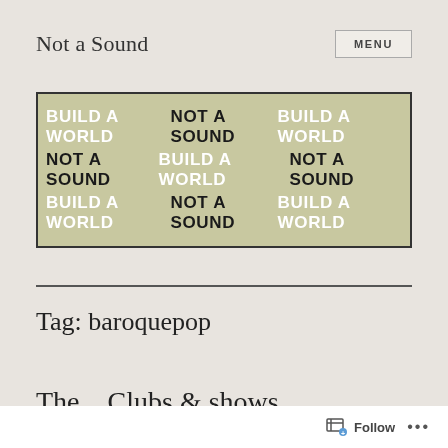Not a Sound
[Figure (other): Banner image with alternating white and dark text on an olive/khaki background reading 'BUILD A WORLD NOT A SOUND BUILD A WORLD' repeated in three rows]
Tag: baroquepop
The... Clubs &amp; shows ...
Follow ...